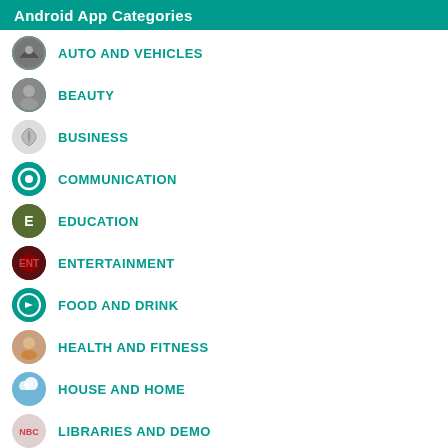Android App Categories
AUTO AND VEHICLES
BEAUTY
BUSINESS
COMMUNICATION
EDUCATION
ENTERTAINMENT
FOOD AND DRINK
HEALTH AND FITNESS
HOUSE AND HOME
LIBRARIES AND DEMO
MAPS AND NAVIGATION
MUSIC AND AUDIO